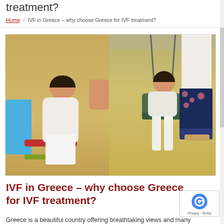treatment?
Home › IVF in Greece – why choose Greece for IVF treatment?
[Figure (photo): Two side-by-side photographs of a baby/toddler at a playground. Left photo: a baby sitting in a blue playground seat/slide with a red bar, sandy ground. Right photo: a baby sitting in a green/dark swing seat, with an adult standing behind them, on sandy ground.]
IVF in Greece – why choose Greece for IVF treatment?
Greece is a beautiful country offering breathtaking views and many